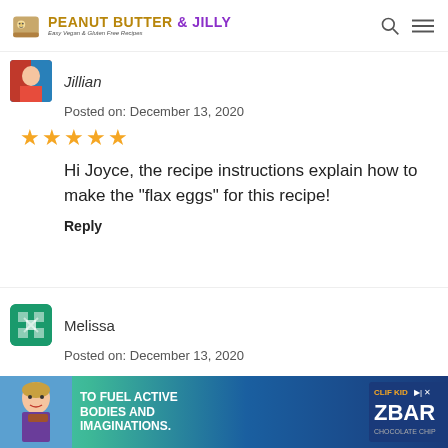PEANUT BUTTER & JILLY - Easy Vegan & Gluten Free Recipes
Jillian
Posted on: December 13, 2020
[Figure (other): Five gold star rating]
Hi Joyce, the recipe instructions explain how to make the "flax eggs" for this recipe!
Reply
Melissa
Posted on: December 13, 2020
I have the same issue with monk fruit and sugar
[Figure (other): Advertisement banner: TO FUEL ACTIVE BODIES AND IMAGINATIONS. ZBAR chocolate chip energy bar ad.]